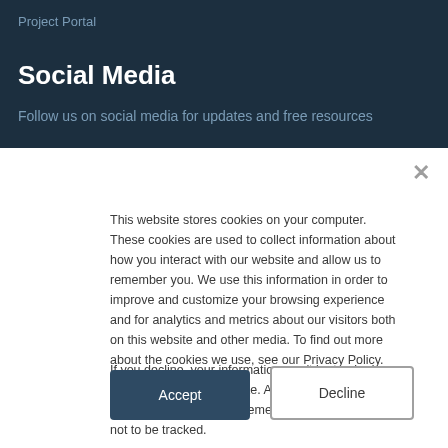Project Portal
Social Media
Follow us on social media for updates and free resources
This website stores cookies on your computer. These cookies are used to collect information about how you interact with our website and allow us to remember you. We use this information in order to improve and customize your browsing experience and for analytics and metrics about our visitors both on this website and other media. To find out more about the cookies we use, see our Privacy Policy.
If you decline, your information won’t be tracked when you visit this website. A single cookie will be used in your browser to remember your preference not to be tracked.